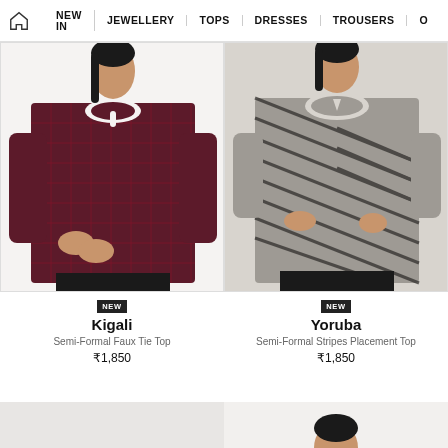NEW IN | JEWELLERY | TOPS | DRESSES | TROUSERS | O
[Figure (photo): Woman wearing Kigali Semi-Formal Faux Tie Top in dark red/maroon checkered pattern with keyhole neckline and long sleeves]
[Figure (photo): Woman wearing Yoruba Semi-Formal Stripes Placement Top in grey/charcoal diagonal chevron stripe pattern with 3/4 sleeves]
NEW
Kigali
Semi-Formal Faux Tie Top
₹1,850
NEW
Yoruba
Semi-Formal Stripes Placement Top
₹1,850
[Figure (photo): Partial view of a third product - woman's torso visible at bottom of page]